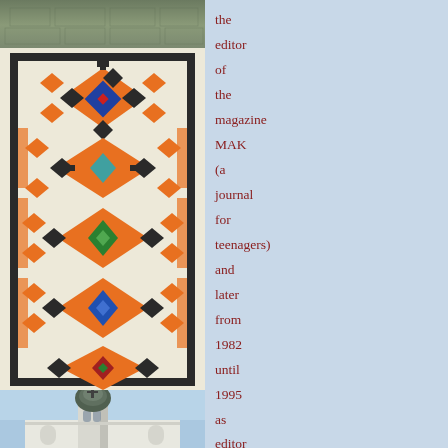[Figure (photo): Top portion of building or stone wall texture, grayscale]
[Figure (photo): Traditional embroidered fabric with colorful geometric patterns in orange, blue, green, red, and black on white background]
[Figure (photo): Church tower with baroque onion dome against blue sky, white church facade visible below]
the editor of the magazine MAK (a journal for teenagers) and later from 1982 until 1995 as editor of the weekly newspaper Ruske Slovo. He was president of